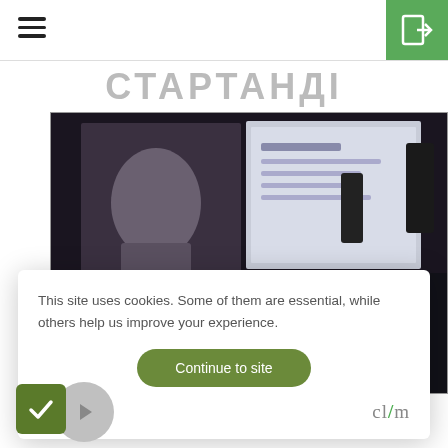Navigation bar with hamburger menu and login button
СТАРТАНДИ
[Figure (photo): A speaker presenting at a conference or event, standing in front of a large projection screen showing a presentation slide, with an audience visible in the background. Indoor venue with dark curtains.]
This site uses cookies. Some of them are essential, while others help us improve your experience.
Continue to site
Preferences
clym
trusty.care
0
0